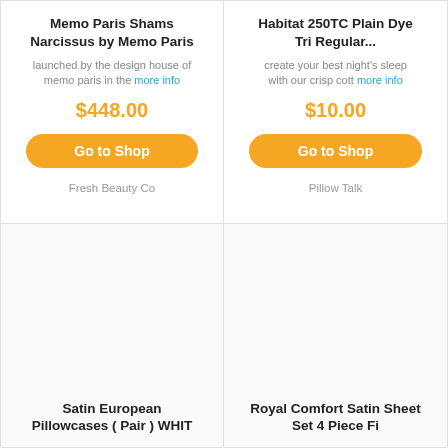Memo Paris Shams Narcissus by Memo Paris
launched by the design house of memo paris in the more info
$448.00
Go to Shop
Fresh Beauty Co
Habitat 250TC Plain Dye Tri Regular...
create your best night's sleep with our crisp cott more info
$10.00
Go to Shop
Pillow Talk
Satin European Pillowcases ( Pair ) WHIT
Royal Comfort Satin Sheet Set 4 Piece Fi